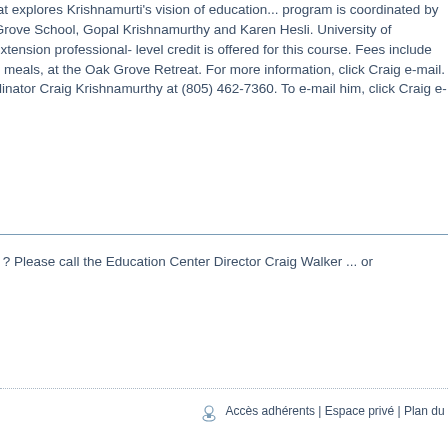A fourteen-day program that explores Krishnamurti's vision of education... program is coordinated by two former faculty at Oak Grove School, Gopal Krishnamurthy and Karen Hesli. University of California Santa Barbara Extension professional- level credit is offered for this course. Fees include the two weeks' stay and all meals, at the Oak Grove Retreat. For more information, click Craig e-mail. Or contact Academy Coordinator Craig Krishnamurthy at (805) 462-7360. To e-mail him, click Craig e-mail .
Questions about programs ? Please call the Education Center Director Craig Walker ... or E-mail Craig
Accès adhérents | Espace privé | Plan du sit...